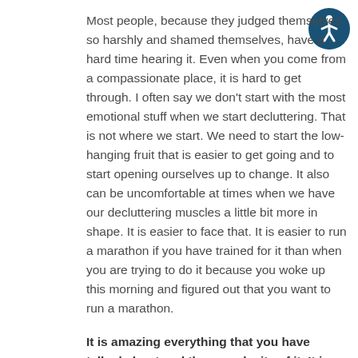Most people, because they judged themselves so harshly and shamed themselves, have a hard time hearing it. Even when you come from a compassionate place, it is hard to get through. I often say we don't start with the most emotional stuff when we start decluttering. That is not where we start. We need to start the low-hanging fruit that is easier to get going and to start opening ourselves up to change. It also can be uncomfortable at times when we have our decluttering muscles a little bit more in shape. It is easier to face that. It is easier to run a marathon if you have trained for it than when you are trying to do it because you woke up this morning and figured out that you want to run a marathon.
[Figure (other): Accessibility icon: a circular dark blue badge with a white person/wheelchair accessibility symbol]
It is amazing everything that you have talked about and the complexity of it. It is a further reminder to take it step-by-step. Maybe even after